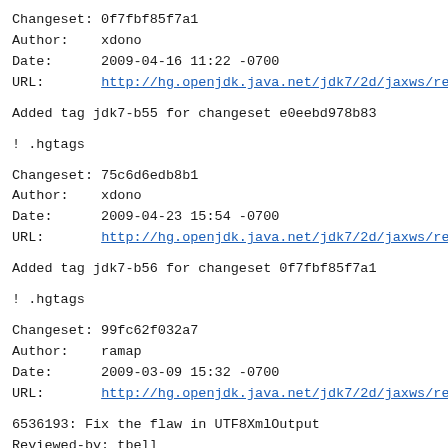Changeset: 0f7fbf85f7a1
Author:    xdono
Date:      2009-04-16 11:22 -0700
URL:       http://hg.openjdk.java.net/jdk7/2d/jaxws/rev/0...
Added tag jdk7-b55 for changeset e0eebd978b83
! .hgtags
Changeset: 75c6d6edb8b1
Author:    xdono
Date:      2009-04-23 15:54 -0700
URL:       http://hg.openjdk.java.net/jdk7/2d/jaxws/rev/7...
Added tag jdk7-b56 for changeset 0f7fbf85f7a1
! .hgtags
Changeset: 99fc62f032a7
Author:    ramap
Date:      2009-03-09 15:32 -0700
URL:       http://hg.openjdk.java.net/jdk7/2d/jaxws/rev/9...
6536193: Fix the flaw in UTF8XmlOutput
Reviewed-by: tbell
! src/share/classes/com/sun/xml/internal/bind/v2/runtime/...
Changeset: f89f252678be
Author:    asaha